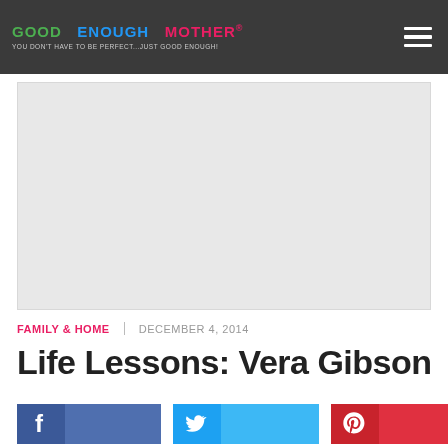GOOD ENOUGH MOTHER® — YOU DON'T HAVE TO BE PERFECT...JUST GOOD ENOUGH!
[Figure (photo): Large gray placeholder image area for the article hero image]
FAMILY & HOME   DECEMBER 4, 2014
Life Lessons: Vera Gibson
[Figure (infographic): Social share buttons: Facebook, Twitter, Pinterest]